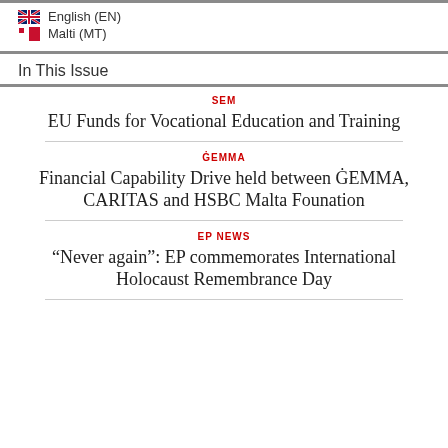English (EN)
Malti (MT)
In This Issue
SEM
EU Funds for Vocational Education and Training
ĠEMMA
Financial Capability Drive held between ĠEMMA, CARITAS and HSBC Malta Founation
EP NEWS
“Never again”: EP commemorates International Holocaust Remembrance Day